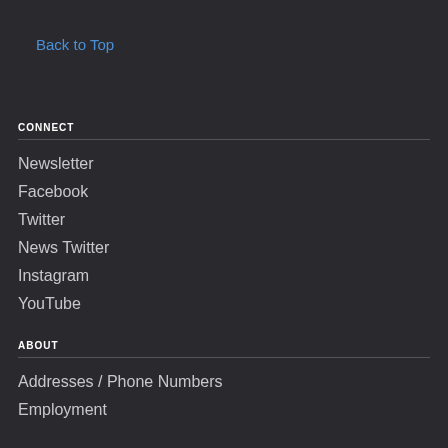Back to Top
CONNECT
Newsletter
Facebook
Twitter
News Twitter
Instagram
YouTube
ABOUT
Addresses / Phone Numbers
Employment